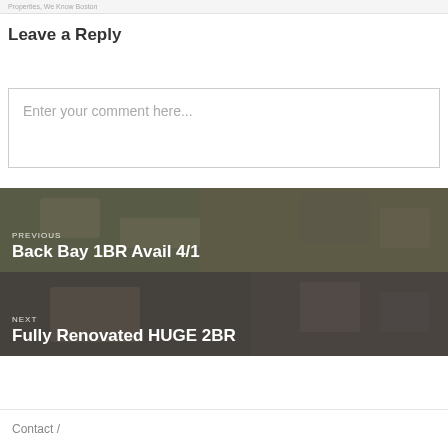Properties, We Know Boston
Leave a Reply
Enter your comment here...
[Figure (photo): Navigation block showing previous post: Back Bay 1BR Avail 4/1 with a photo of a living room interior with fireplace and furniture]
[Figure (photo): Navigation block showing next post: Fully Renovated HUGE 2BR with a photo of a renovated room interior with fireplace]
Contact /